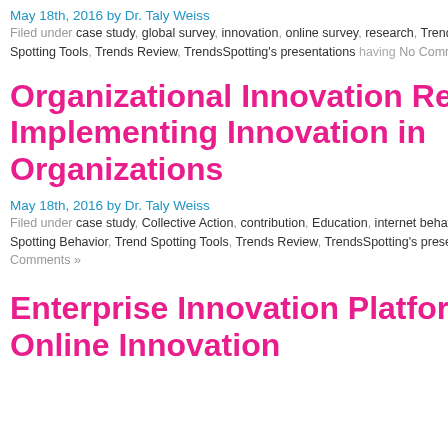trendAct FollowTheB
May 18th, 2016 by Dr. Taly Weiss
Filed under case study, global survey, innovation, online survey, research, Trend Spotting Behavior, Trend Spotting Tools, Trends Review, TrendsSpotting's presentations having No Comments »
Organizational Innovation Report: Implementing Innovation in Organizations
May 18th, 2016 by Dr. Taly Weiss
Filed under case study, Collective Action, contribution, Education, internet behavior, research, Trend Spotting Behavior, Trend Spotting Tools, Trends Review, TrendsSpotting's presentations having No Comments »
Enterprise Innovation Platforms and Online Innovation
Categories
Trend Spots (657)
Trend Spotting Behavior (813)
Trend Spotting Tools (505)
blog citation (48)
case study (18)
cloud tag